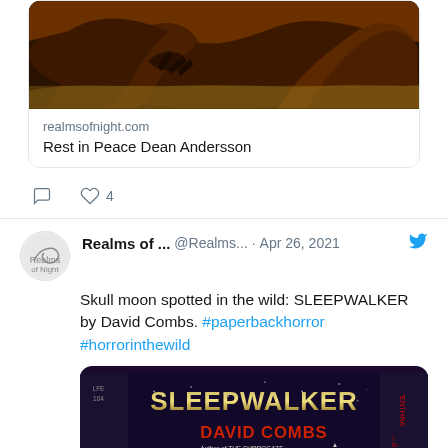[Figure (illustration): Top portion of a tweet showing a fantasy/horror book cover illustration with dark creatures]
realmsofnight.com
Rest in Peace Dean Andersson
[Figure (infographic): Twitter action buttons: reply and heart/like with count 4]
[Figure (photo): Realms of Night Twitter avatar logo]
Realms of ... @Realms... · Apr 26, 2021
Skull moon spotted in the wild: SLEEPWALKER by David Combs. #paperbackhorror #horrorinthewild
[Figure (photo): Photo of the paperback book SLEEPWALKER by David Combs showing a skull on a glowing moon on the cover]